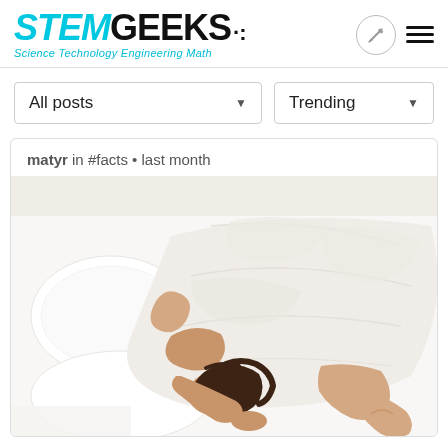STEMGEEKS - Science Technology Engineering Math
All posts
Trending
matyr in #facts • last month
[Figure (photo): Person lying in bed covered with white duvet and pillows, viewed from above on white bedding]